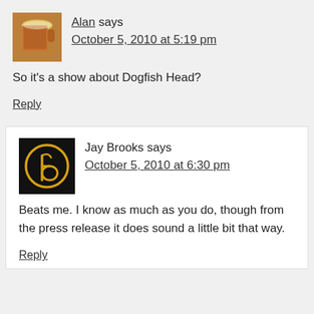Alan says
October 5, 2010 at 5:19 pm
So it's a show about Dogfish Head?
Reply
Jay Brooks says
October 5, 2010 at 6:30 pm
Beats me. I know as much as you do, though from the press release it does sound a little bit that way.
Reply